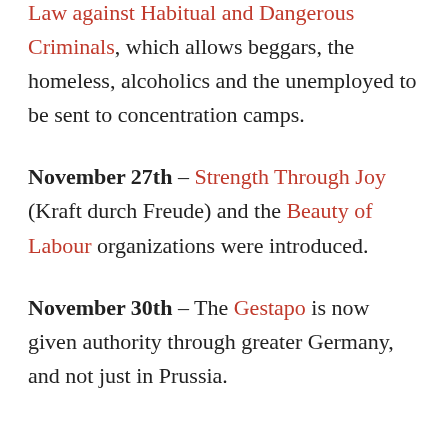Law against Habitual and Dangerous Criminals, which allows beggars, the homeless, alcoholics and the unemployed to be sent to concentration camps.
November 27th – Strength Through Joy (Kraft durch Freude) and the Beauty of Labour organizations were introduced.
November 30th – The Gestapo is now given authority through greater Germany, and not just in Prussia.